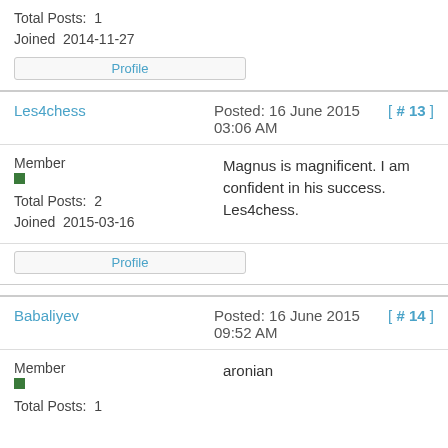Total Posts:  1
Joined  2014-11-27
Profile
Les4chess  Posted: 16 June 2015 03:06 AM  [ # 13 ]
Member
Total Posts:  2
Joined  2015-03-16
Magnus is magnificent. I am confident in his success. Les4chess.
Profile
Babaliyev  Posted: 16 June 2015 09:52 AM  [ # 14 ]
Member
Total Posts:  1
aronian